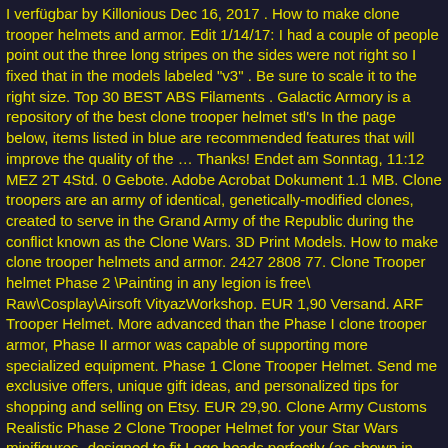I verfügbar by Killonious Dec 16, 2017 . How to make clone trooper helmets and armor. Edit 1/14/17: I had a couple of people point out the three long stripes on the sides were not right so I fixed that in the models labeled "v3" . Be sure to scale it to the right size. Top 30 BEST ABS Filaments . Galactic Armory is a repository of the best clone trooper helmet stl's In the page below, items listed in blue are recommended features that will improve the quality of the … Thanks! Endet am Sonntag, 11:12 MEZ 2T 4Std. 0 Gebote. Adobe Acrobat Dokument 1.1 MB. Clone troopers are an army of identical, genetically-modified clones, created to serve in the Grand Army of the Republic during the conflict known as the Clone Wars. 3D Print Models. How to make clone trooper helmets and armor. 2427 2808 77. Clone Trooper helmet Phase 2 \Painting in any legion is free\ Raw\Cosplay\Airsoft VityazWorkshop. EUR 1,90 Versand. ARF Trooper Helmet. More advanced than the Phase I clone trooper armor, Phase II armor was capable of supporting more specialized equipment. Phase 1 Clone Trooper Helmet. Send me exclusive offers, unique gift ideas, and personalized tips for shopping and selling on Etsy. EUR 29,90. Clone Army Customs Realistic Phase 2 Clone Trooper Helmet for your Star Wars minifigures- designed to fit Lego heads perfectly (as shown in photos)-Can't find enough Clone helmets to outfit your army? Star Wars Clone Trooper Helmet (Phase 1) 371 Views 0 Comment. Lego® Star Wars Minifiguren Zubehör 10x Helm 212th Clone Trooper 75013 Neu . Was better adapted to human.